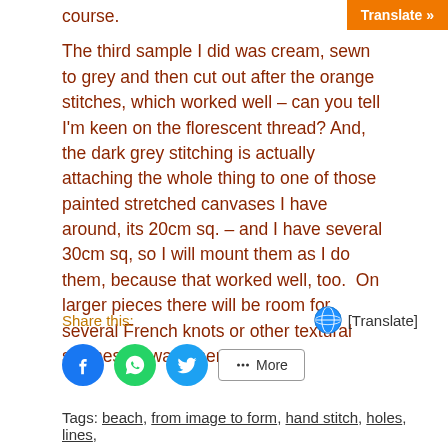course.
Translate »
The third sample I did was cream, sewn to grey and then cut out after the orange stitches, which worked well – can you tell I'm keen on the florescent thread? And, the dark grey stitching is actually attaching the whole thing to one of those painted stretched canvases I have around, its 20cm sq. – and I have several 30cm sq, so I will mount them as I do them, because that worked well, too.  On larger pieces there will be room for several French knots or other textural stitches if I want them.
Share this:
🌐 [Translate]
Tags: beach, from image to form, hand stitch, holes, lines,